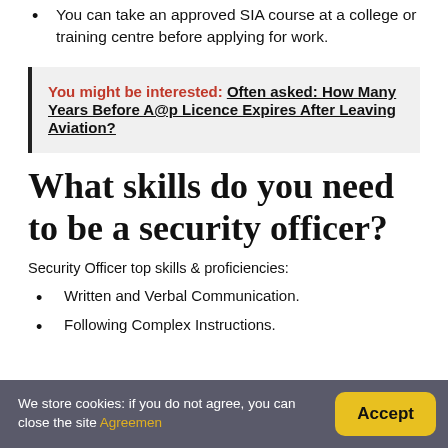You can take an approved SIA course at a college or training centre before applying for work.
You might be interested: Often asked: How Many Years Before A@p Licence Expires After Leaving Aviation?
What skills do you need to be a security officer?
Security Officer top skills & proficiencies:
Written and Verbal Communication.
Following Complex Instructions.
We store cookies: if you do not agree, you can close the site Agreemen